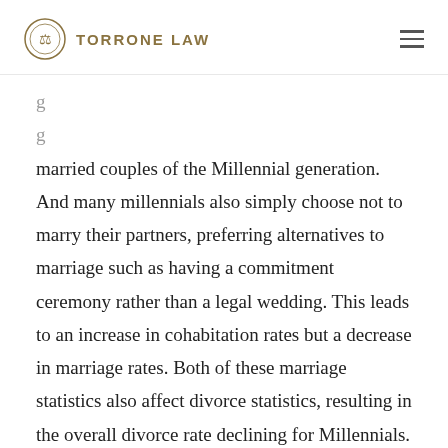TORRONE LAW
married couples of the Millennial generation. And many millennials also simply choose not to marry their partners, preferring alternatives to marriage such as having a commitment ceremony rather than a legal wedding. This leads to an increase in cohabitation rates but a decrease in marriage rates. Both of these marriage statistics also affect divorce statistics, resulting in the overall divorce rate declining for Millennials. So while it is true that grey divorce is the rise regardless, the decrease in Millennial di… can skew the overall data and make it look like grey